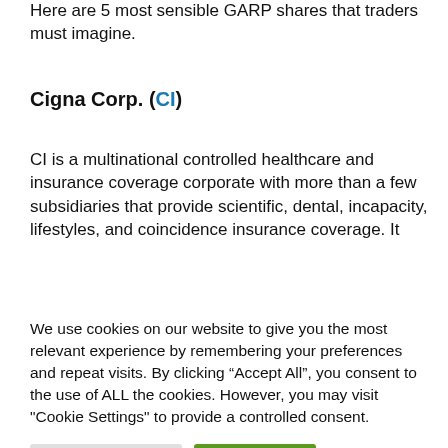Here are 5 most sensible GARP shares that traders must imagine.
Cigna Corp. (CI)
CI is a multinational controlled healthcare and insurance coverage corporate with more than a few subsidiaries that provide scientific, dental, incapacity, lifestyles, and coincidence insurance coverage. It
We use cookies on our website to give you the most relevant experience by remembering your preferences and repeat visits. By clicking “Accept All”, you consent to the use of ALL the cookies. However, you may visit "Cookie Settings" to provide a controlled consent.